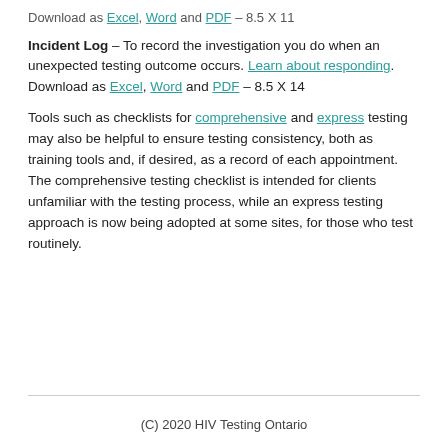Download as Excel, Word and PDF – 8.5 X 11
Incident Log – To record the investigation you do when an unexpected testing outcome occurs. Learn about responding. Download as Excel, Word and PDF – 8.5 X 14
Tools such as checklists for comprehensive and express testing may also be helpful to ensure testing consistency, both as training tools and, if desired, as a record of each appointment. The comprehensive testing checklist is intended for clients unfamiliar with the testing process, while an express testing approach is now being adopted at some sites, for those who test routinely.
(C) 2020 HIV Testing Ontario